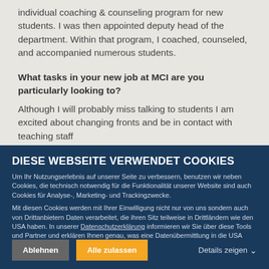individual coaching & counseling program for new students. I was then appointed deputy head of the department. Within that program, I coached, counseled, and accompanied numerous students.
What tasks in your new job at MCI are you particularly looking to?
Although I will probably miss talking to students I am excited about changing fronts and be in contact with teaching staff
DIESE WEBSEITE VERWENDET COOKIES
Um Ihr Nutzungserlebnis auf unserer Seite zu verbessern, benutzen wir neben Cookies, die technisch notwendig für die Funktionalität unserer Website sind auch Cookies für Analyse-, Marketing- und Trackingzwecke.
Mit diesen Cookies werden mit Ihrer Einwilligung nicht nur von uns sondern auch von Drittanbietern Daten verarbeitet, die ihren Sitz teilweise in Drittländern wie den USA haben. In unserer Datenschutzerklärung informieren wir Sie über diese Tools und Partner und erklären Ihnen genau, was eine Datenübermittlung in die USA bedeuten kann.
Ablehnen
Alle zulassen
Details zeigen